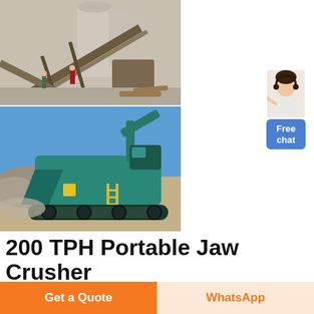[Figure (photo): Industrial jaw crusher plant with conveyor belts, structural steel framework, and workers visible at a quarry/mining site. Yellow and grey machinery.]
[Figure (photo): Portable jaw crusher plant on crawler tracks, teal/green colored machine, operating in an open quarry with crushed rock debris around it under a blue sky.]
200 TPH Portable Jaw Crusher Plant dawomachine.com – Trayo
Free chat
Get a Quote
WhatsApp